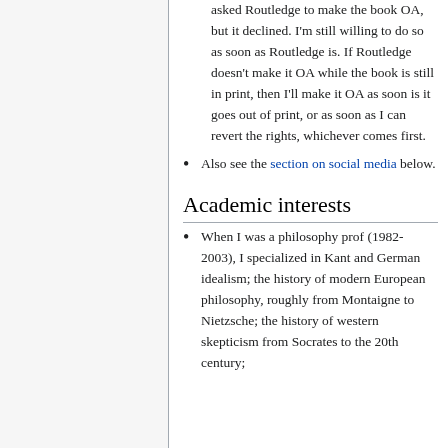asked Routledge to make the book OA, but it declined. I'm still willing to do so as soon as Routledge is. If Routledge doesn't make it OA while the book is still in print, then I'll make it OA as soon is it goes out of print, or as soon as I can revert the rights, whichever comes first.
Also see the section on social media below.
Academic interests
When I was a philosophy prof (1982-2003), I specialized in Kant and German idealism; the history of modern European philosophy, roughly from Montaigne to Nietzsche; the history of western skepticism from Socrates to the 20th century;